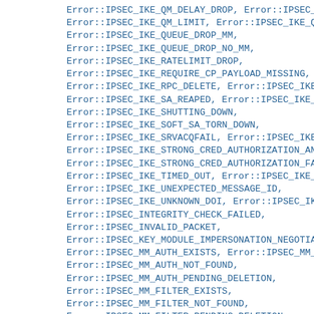Error::IPSEC_IKE_QM_DELAY_DROP, Error::IPSEC_IKE_
Error::IPSEC_IKE_QM_LIMIT, Error::IPSEC_IKE_QM_LI
Error::IPSEC_IKE_QUEUE_DROP_MM,
Error::IPSEC_IKE_QUEUE_DROP_NO_MM,
Error::IPSEC_IKE_RATELIMIT_DROP,
Error::IPSEC_IKE_REQUIRE_CP_PAYLOAD_MISSING,
Error::IPSEC_IKE_RPC_DELETE, Error::IPSEC_IKE_SA_
Error::IPSEC_IKE_SA_REAPED, Error::IPSEC_IKE_SECL
Error::IPSEC_IKE_SHUTTING_DOWN,
Error::IPSEC_IKE_SOFT_SA_TORN_DOWN,
Error::IPSEC_IKE_SRVACQFAIL, Error::IPSEC_IKE_SRV
Error::IPSEC_IKE_STRONG_CRED_AUTHORIZATION_AND_CE
Error::IPSEC_IKE_STRONG_CRED_AUTHORIZATION_FAILUR
Error::IPSEC_IKE_TIMED_OUT, Error::IPSEC_IKE_TOO_
Error::IPSEC_IKE_UNEXPECTED_MESSAGE_ID,
Error::IPSEC_IKE_UNKNOWN_DOI, Error::IPSEC_IKE_UN
Error::IPSEC_INTEGRITY_CHECK_FAILED,
Error::IPSEC_INVALID_PACKET,
Error::IPSEC_KEY_MODULE_IMPERSONATION_NEGOTIATION
Error::IPSEC_MM_AUTH_EXISTS, Error::IPSEC_MM_AUTH
Error::IPSEC_MM_AUTH_NOT_FOUND,
Error::IPSEC_MM_AUTH_PENDING_DELETION,
Error::IPSEC_MM_FILTER_EXISTS,
Error::IPSEC_MM_FILTER_NOT_FOUND,
Error::IPSEC_MM_FILTER_PENDING_DELETION,